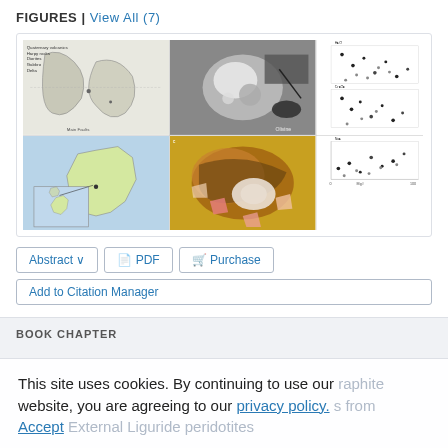FIGURES | View All (7)
[Figure (other): Composite panel of 7 scientific figures including geological maps, microscopy images, and scatter plots]
Abstract ∨   PDF   Purchase
Add to Citation Manager
BOOK CHAPTER
This site uses cookies. By continuing to use our website, you are agreeing to our privacy policy. Accept External Liguride peridotites